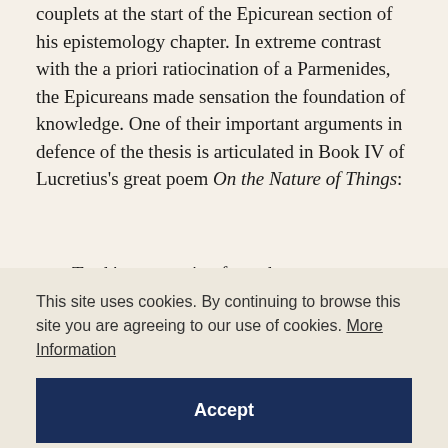couplets at the start of the Epicurean section of his epistemology chapter. In extreme contrast with the a priori ratiocination of a Parmenides, the Epicureans made sensation the foundation of knowledge. One of their important arguments in defence of the thesis is articulated in Book IV of Lucretius's great poem On the Nature of Things:
Truth's very notion from the senses came.
What witness, then, to challenge them can claim?
Against the senses' faith to win the day
This site uses cookies. By continuing to browse this site you are agreeing to our use of cookies. More Information
Accept